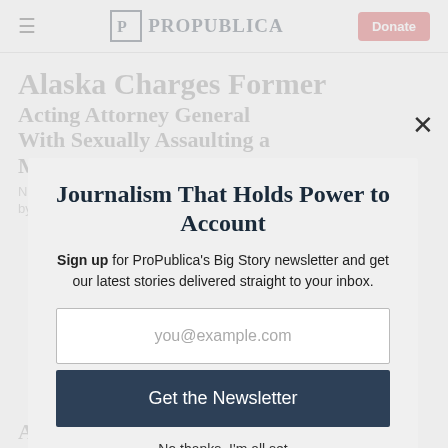ProPublica — Donate
Alaska Charges Former Acting Attorney General With Sexually Assaulting a Minor
Journalism That Holds Power to Account
Sign up for ProPublica's Big Story newsletter and get our latest stories delivered straight to your inbox.
you@example.com
Get the Newsletter
No thanks, I'm all set
This site is protected by reCAPTCHA and the Google Privacy Policy and Terms of Service apply.